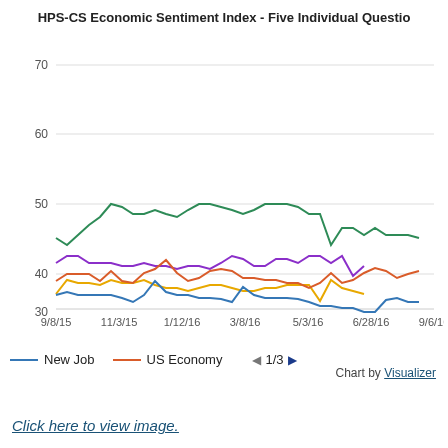[Figure (line-chart): HPS-CS Economic Sentiment Index - Five Individual Questio]
New Job   US Economy   1/3
Chart by Visualizer
Click here to view image.